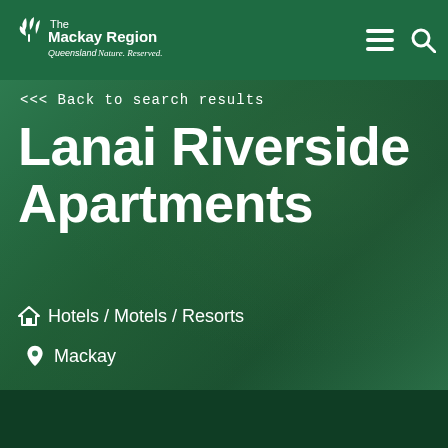The Mackay Region Queensland Nature. Reserved.
<<< Back to search results
Lanai Riverside Apartments
Hotels / Motels / Resorts
Mackay